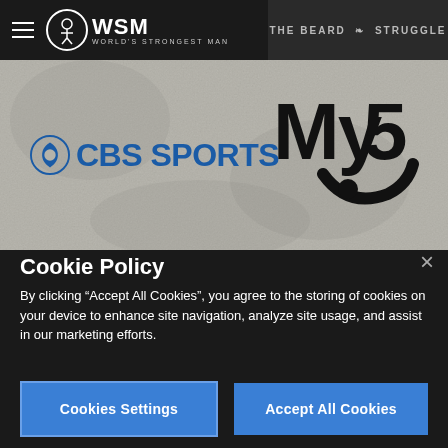[Figure (logo): WSM World's Strongest Man navigation bar with hamburger menu icon and logo on dark background]
[Figure (logo): Partner logos section with textured grey background showing CBS Sports logo on left and My5 logo on right]
Cookie Policy
By clicking “Accept All Cookies”, you agree to the storing of cookies on your device to enhance site navigation, analyze site usage, and assist in our marketing efforts.
Cookie Policy
Cookies Settings
Accept All Cookies